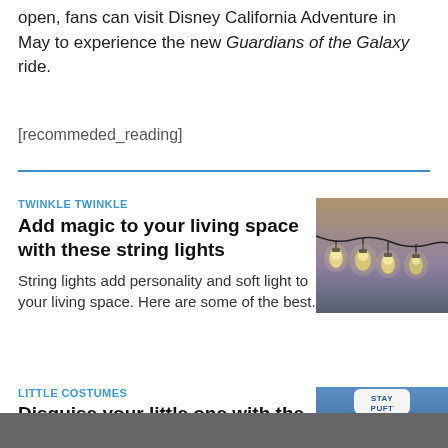open, fans can visit Disney California Adventure in May to experience the new Guardians of the Galaxy ride.
[recommeded_reading]
TWINKLE TWINKLE
Add magic to your living space with these string lights
String lights add personality and soft light to your living space. Here are some of the best.
[Figure (photo): Photo of string lights hanging against a dusky sky]
LITTLE COSTUMES
Disguise your little one with the help of a themed costume
[Figure (photo): Photo of a baby wearing a Stay Puft Marshmallow Man costume hat]